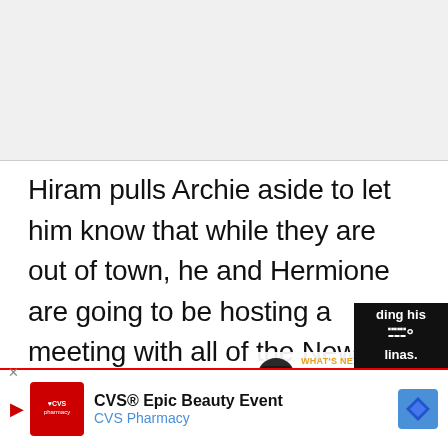[Figure (photo): Gray image placeholder at top of page]
Hiram pulls Archie aside to let him know that while they are out of town, he and Hermione are going to be hosting a meeting with all of the New York families. There’s been some unrest since the death of Papa Poutine. Hiram wants his little girl safely out of town, and the vacation home at Shadow Lake has served as a sort of safe house. Archie swears he’ll protect his secret while guarding his co...linas.